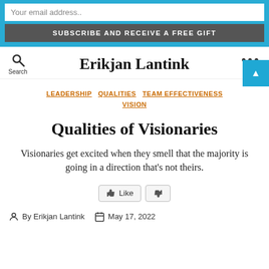Your email address.. | SUBSCRIBE AND RECEIVE A FREE GIFT
Erikjan Lantink
LEADERSHIP   QUALITIES   TEAM EFFECTIVENESS   VISION
Qualities of Visionaries
Visionaries get excited when they smell that the majority is going in a direction that's not theirs.
👍 Like | 👎
By Erikjan Lantink   May 17, 2022